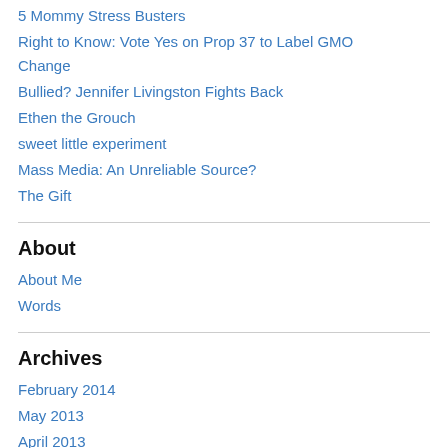5 Mommy Stress Busters
Right to Know: Vote Yes on Prop 37 to Label GMO Change
Bullied? Jennifer Livingston Fights Back
Ethen the Grouch
sweet little experiment
Mass Media: An Unreliable Source?
The Gift
About
About Me
Words
Archives
February 2014
May 2013
April 2013